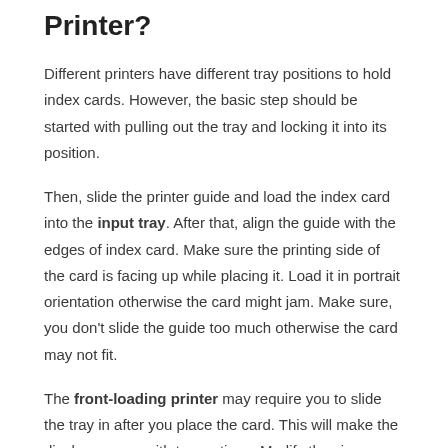Printer?
Different printers have different tray positions to hold index cards. However, the basic step should be started with pulling out the tray and locking it into its position.
Then, slide the printer guide and load the index card into the input tray. After that, align the guide with the edges of index card. Make sure the printing side of the card is facing up while placing it. Load it in portrait orientation otherwise the card might jam. Make sure, you don't slide the guide too much otherwise the card may not fit.
The front-loading printer may require you to slide the tray in after you place the card. This will make the display pop up with two options. Modify the size as per the card you're using.
3. What Printer Can Print On 3×5 Index Cards?